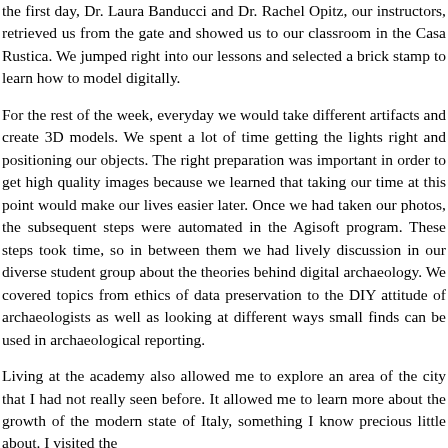the first day, Dr. Laura Banducci and Dr. Rachel Opitz, our instructors, retrieved us from the gate and showed us to our classroom in the Casa Rustica. We jumped right into our lessons and selected a brick stamp to learn how to model digitally.

For the rest of the week, everyday we would take different artifacts and create 3D models. We spent a lot of time getting the lights right and positioning our objects. The right preparation was important in order to get high quality images because we learned that taking our time at this point would make our lives easier later. Once we had taken our photos, the subsequent steps were automated in the Agisoft program. These steps took time, so in between them we had lively discussion in our diverse student group about the theories behind digital archaeology. We covered topics from ethics of data preservation to the DIY attitude of archaeologists as well as looking at different ways small finds can be used in archaeological reporting.

Living at the academy also allowed me to explore an area of the city that I had not really seen before. It allowed me to learn more about the growth of the modern state of Italy, something I know precious little about. I visited the